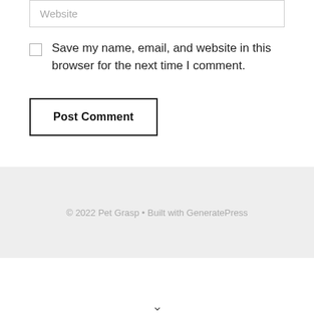Website
Save my name, email, and website in this browser for the next time I comment.
Post Comment
© 2022 Pet Grasp • Built with GeneratePress